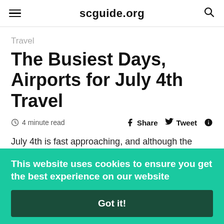≡  scguide.org  🔍
Travel
The Busiest Days, Airports for July 4th Travel
4 minute read   Share   Tweet   📌
July 4th is fast approaching, and although the
This website uses cookies to ensure you get the best experience on our website
Got it!